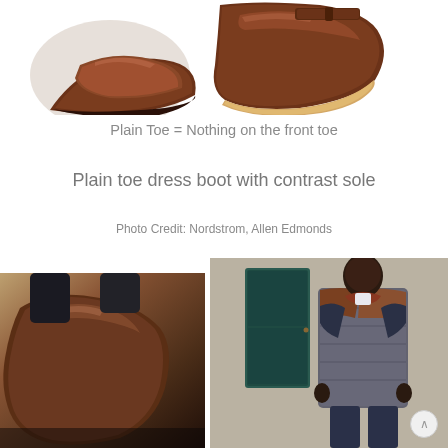[Figure (photo): Two brown leather shoes/boots photographed from above on white background — left side shows plain toe shoe toe box, right side shows a plain toe dress boot with contrast cream/tan sole]
Plain Toe = Nothing on the front toe
Plain toe dress boot with contrast sole
Photo Credit: Nordstrom, Allen Edmonds
[Figure (photo): Left: close-up of dark brown leather boots being worn with dark trousers; Right: man wearing navy suit with grey quilted vest, leather shoulder patch, standing against stone wall backdrop]
^